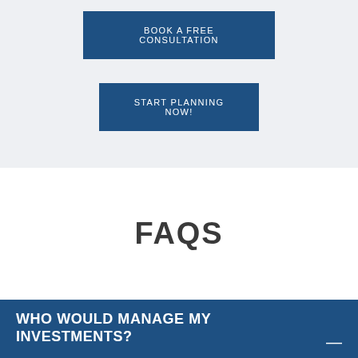BOOK A FREE CONSULTATION
START PLANNING NOW!
FAQS
WHO WOULD MANAGE MY INVESTMENTS?